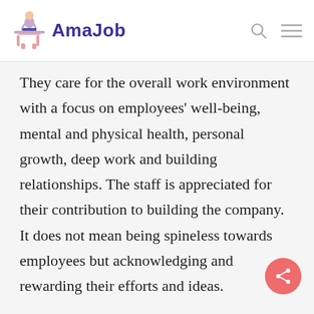AmaJob
They care for the overall work environment with a focus on employees' well-being, mental and physical health, personal growth, deep work and building relationships. The staff is appreciated for their contribution to building the company. It does not mean being spineless towards employees but acknowledging and rewarding their efforts and ideas.